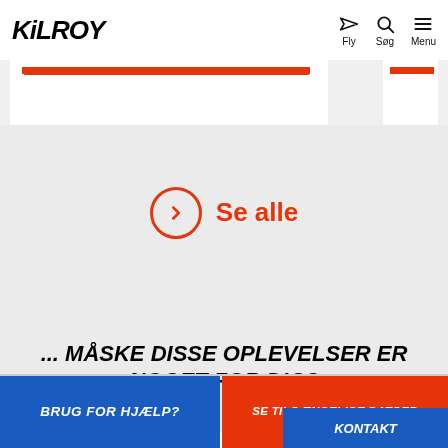KiLROY
[Figure (screenshot): Kilroy website navigation header with logo, fly icon, search icon, and menu icon]
Se alle
... MÅSKE DISSE OPLEVELSER ER NOGET FOR DIG?
BRUG FOR HJÆLP?
SE TILGÆNGELIGE DATOER
KONTAKT